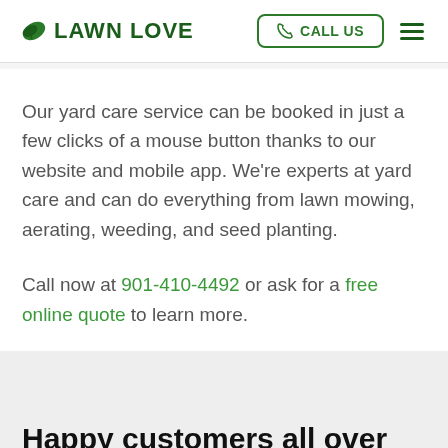LAWN LOVE — CALL US
Our yard care service can be booked in just a few clicks of a mouse button thanks to our website and mobile app. We're experts at yard care and can do everything from lawn mowing, aerating, weeding, and seed planting.
Call now at 901-410-4492 or ask for a free online quote to learn more.
Happy customers all over Cordova